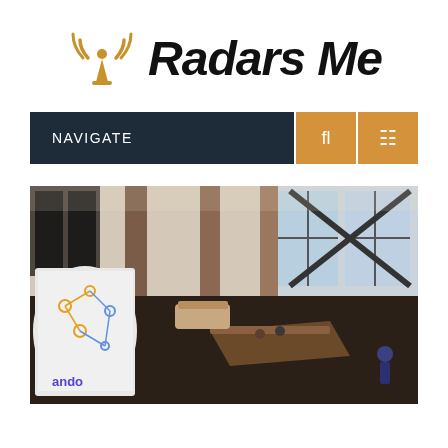[Figure (logo): Radars Me logo with radar/signal icon and bold italic text 'Radars Me']
NAVIGATE
[Figure (photo): Interior aerial view of a modern open office/lobby space with brick pillars, high ceilings with large windows, a reception desk, curved display screens showing a network map, and people visible on the floor below.]